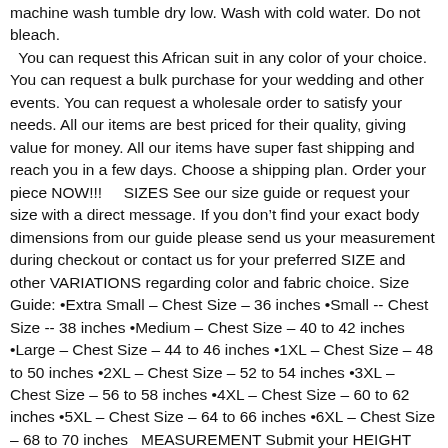machine wash tumble dry low. Wash with cold water. Do not bleach. You can request this African suit in any color of your choice. You can request a bulk purchase for your wedding and other events. You can request a wholesale order to satisfy your needs. All our items are best priced for their quality, giving value for money. All our items have super fast shipping and reach you in a few days. Choose a shipping plan. Order your piece NOW!!!     SIZES See our size guide or request your size with a direct message. If you don't find your exact body dimensions from our guide please send us your measurement during checkout or contact us for your preferred SIZE and other VARIATIONS regarding color and fabric choice. Size Guide: •Extra Small – Chest Size – 36 inches •Small -- Chest Size -- 38 inches •Medium – Chest Size – 40 to 42 inches •Large – Chest Size – 44 to 46 inches •1XL – Chest Size – 48 to 50 inches •2XL – Chest Size – 52 to 54 inches •3XL – Chest Size – 56 to 58 inches •4XL – Chest Size – 60 to 62 inches •5XL – Chest Size – 64 to 66 inches •6XL – Chest Size – 68 to 70 inches    MEASUREMENT Submit your HEIGHT and measurement in inches: •Shirt Shoulder to shoulder Neck Chest Stomach Arm length Biceps Elbow Shirt length •Pants Waist Hip Thigh Knee Ankle/ Bar Pants length / Inseam Pants length / Outseam We usually recommend that you accompany your order with accurate body measurements if our size guide does not work